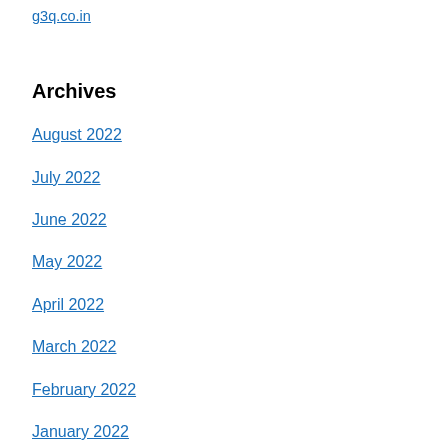g3q.co.in
Archives
August 2022
July 2022
June 2022
May 2022
April 2022
March 2022
February 2022
January 2022
December 2021
November 2021